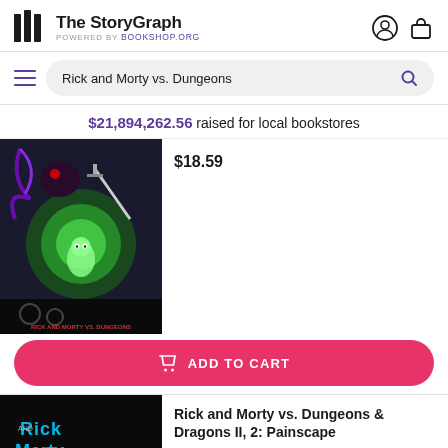The StoryGraph — POWERED BY Bookshop.org
Rick and Morty vs. Dungeons (search query)
$21,894,262.56 raised for local bookstores
$18.59
[Figure (illustration): Book cover for Rick and Morty vs. Dungeons, featuring animated characters in a dark fantasy dungeon scene with glowing green colors]
ADD TO CART
Rick and Morty vs. Dungeons & Dragons II, 2: Painscape